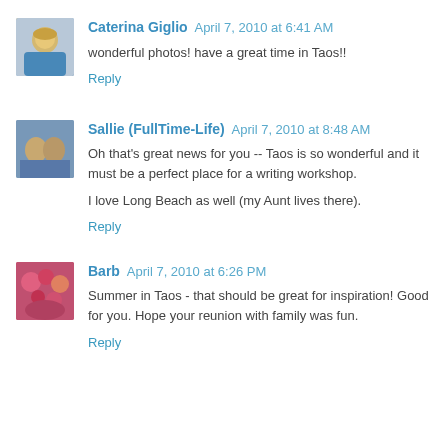[Figure (photo): Avatar photo of Caterina Giglio, blonde woman]
Caterina Giglio April 7, 2010 at 6:41 AM
wonderful photos! have a great time in Taos!!
Reply
[Figure (photo): Avatar photo of Sallie, couple outdoors]
Sallie (FullTime-Life) April 7, 2010 at 8:48 AM
Oh that's great news for you -- Taos is so wonderful and it must be a perfect place for a writing workshop.
I love Long Beach as well (my Aunt lives there).
Reply
[Figure (photo): Avatar photo of Barb, colorful flowers]
Barb April 7, 2010 at 6:26 PM
Summer in Taos - that should be great for inspiration! Good for you. Hope your reunion with family was fun.
Reply